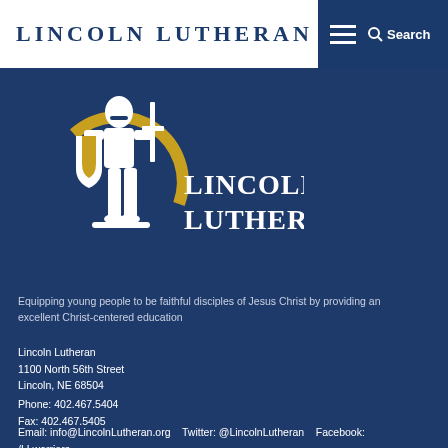Lincoln Lutheran | Search
[Figure (logo): Lincoln Lutheran school logo: white knight figure holding sword and shield with gold/blue circular emblem, with text 'Lincoln Lutheran' in white serif font on dark blue background]
Equipping young people to be faithful disciples of Jesus Christ by providing an excellent Christ-centered education
Lincoln Lutheran
1100 North 56th Street
Lincoln, NE 68504
Phone: 402.467.5404
Fax: 402.467.5405
Email: info@LincolnLutheran.org
Twitter: @LincolnLutheran
Facebook: /LLwarriors